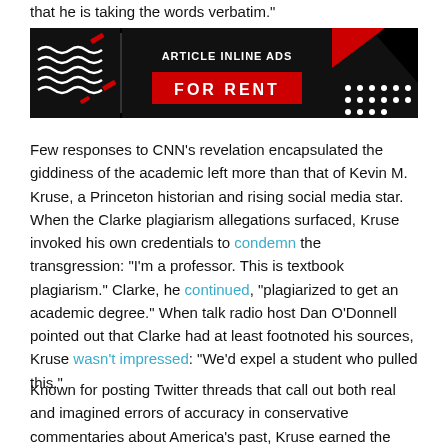that he is taking the words verbatim."
[Figure (other): Advertisement banner: black background with red and white graphic elements. Text reads 'ARTICLE INLINE ADS' and 'FOR RENT' in white text on red box.]
Few responses to CNN's revelation encapsulated the giddiness of the academic left more than that of Kevin M. Kruse, a Princeton historian and rising social media star. When the Clarke plagiarism allegations surfaced, Kruse invoked his own credentials to condemn the transgression: "I'm a professor. This is textbook plagiarism." Clarke, he continued, "plagiarized to get an academic degree." When talk radio host Dan O'Donnell pointed out that Clarke had at least footnoted his sources, Kruse wasn't impressed: "We'd expel a student who pulled this."
Known for posting Twitter threads that call out both real and imagined errors of accuracy in conservative commentaries about America's past, Kruse earned the moniker of "History's